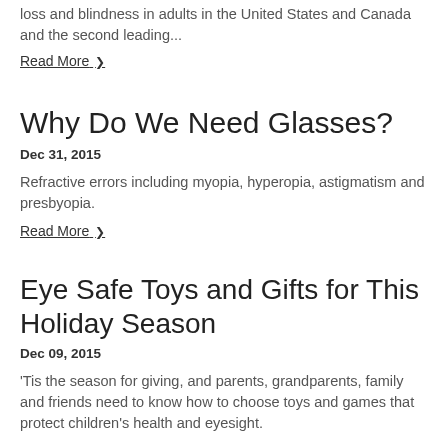loss and blindness in adults in the United States and Canada and the second leading...
Read More ›
Why Do We Need Glasses?
Dec 31, 2015
Refractive errors including myopia, hyperopia, astigmatism and presbyopia.
Read More ›
Eye Safe Toys and Gifts for This Holiday Season
Dec 09, 2015
'Tis the season for giving, and parents, grandparents, family and friends need to know how to choose toys and games that protect children's health and eyesight.